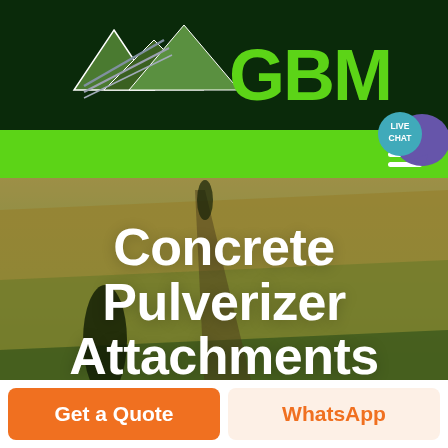[Figure (logo): GBM company logo with mountain/arrow shapes in grey and green on dark green background, bold green text 'GBM']
[Figure (screenshot): Green navigation bar with hamburger menu icon on the right and a 'LIVE CHAT' speech bubble overlay in the top right corner]
[Figure (photo): Aerial photo of farmland/fields with warm earth tones — yellows, greens, and browns — showing rolling agricultural landscape with a road or path and a dark tree/shrub]
Concrete Pulverizer Attachments
[Figure (infographic): Bottom button row: orange 'Get a Quote' button on left, cream/peach 'WhatsApp' button on right]